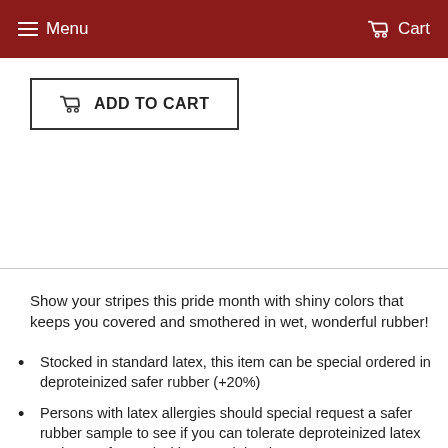Menu   Cart
ADD TO CART
Show your stripes this pride month with shiny colors that keeps you covered and smothered in wet, wonderful rubber!
Stocked in standard latex, this item can be special ordered in deproteinized safer rubber (+20%)
Persons with latex allergies should special request a safer rubber sample to see if you can tolerate deproteinized latex and move forward with a special order
Available to be special ordered in sizes: XS-2XL or custom